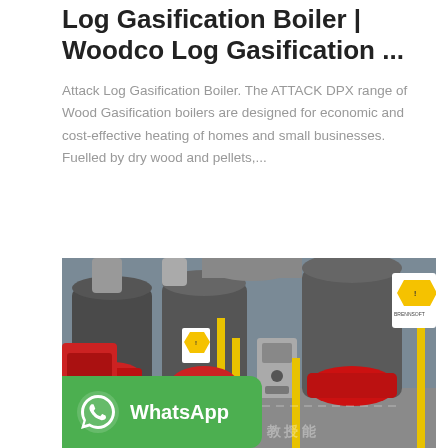Log Gasification Boiler | Woodco Log Gasification ...
Attack Log Gasification Boiler. The ATTACK DPX range of Wood Gasification boilers are designed for economic and cost-effective heating of homes and small businesses. Fuelled by dry wood and pellets,...
[Figure (photo): Industrial boiler room showing multiple large cylindrical boilers with red burner heads, yellow gas pipes, and control panels in an industrial facility. A WhatsApp green badge with icon and text is overlaid at the bottom left.]